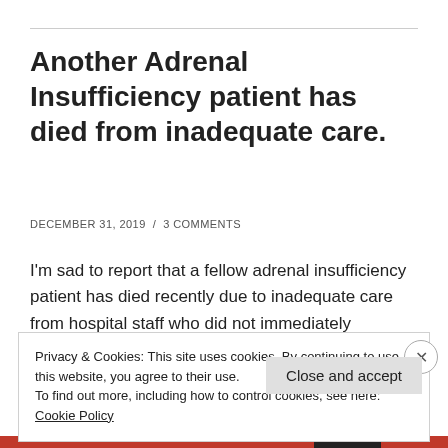Another Adrenal Insufficiency patient has died from inadequate care.
DECEMBER 31, 2019 / 3 COMMENTS
I'm sad to report that a fellow adrenal insufficiency patient has died recently due to inadequate care from hospital staff who did not immediately
Privacy & Cookies: This site uses cookies. By continuing to use this website, you agree to their use.
To find out more, including how to control cookies, see here: Cookie Policy
Close and accept